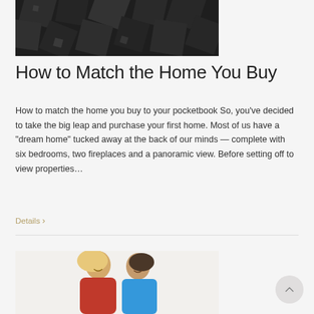[Figure (photo): Dark abstract 3D geometric cubes/blocks on a dark background]
How to Match the Home You Buy
How to match the home you buy to your pocketbook So, you've decided to take the big leap and purchase your first home. Most of us have a “dream home” tucked away at the back of our minds — complete with six bedrooms, two fireplaces and a panoramic view. Before setting off to view properties…
Details >
[Figure (photo): A couple smiling and looking at something together, woman in red plaid shirt, man in blue shirt]